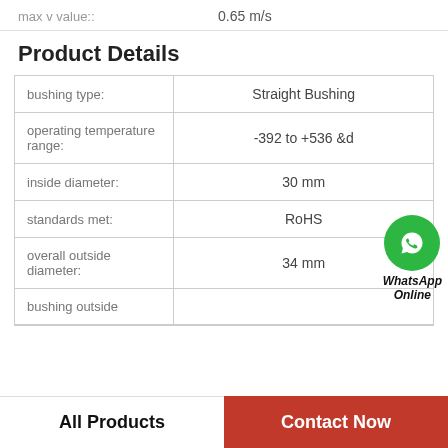max v value::    0.65 m/s
Product Details
| Property | Value |
| --- | --- |
| bushing type: | Straight Bushing |
| operating temperature range: | -392 to +536 &d |
| inside diameter: | 30 mm |
| standards met: | RoHS |
| overall outside diameter: | 34 mm |
| bushing outside |  |
[Figure (logo): WhatsApp Online button with green phone icon]
All Products
Contact Now